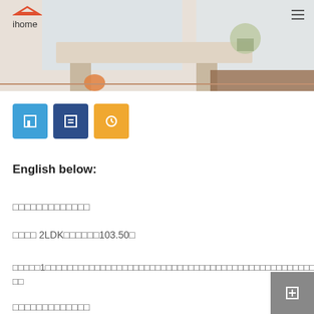[Figure (photo): Interior room photo used as header banner, showing a bright living/dining space with furniture]
ihome
[Figure (other): Three colored icon buttons: blue, dark blue, and orange/yellow]
English below:
□□□□□□□□□□□□□
□□□□ 2LDK□□□□□□103.50□
□□□□□1□□□□□□□□□□□□□□□□□□□□□□□□□□□□□□□□□□□□□□□□□□□□□□□□□□□□
□□
□□□□□□□□□□□□□